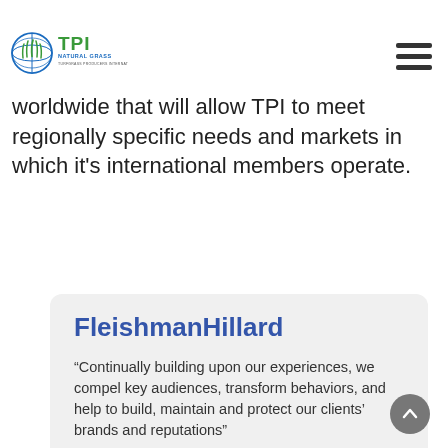TPI Natural Grass — Turfgrass Producers International logo and navigation menu
worldwide that will allow TPI to meet regionally specific needs and markets in which it's international members operate.
FleishmanHillard
“Continually building upon our experiences, we compel key audiences, transform behaviors, and help to build, maintain and protect our clients’ brands and reputations”